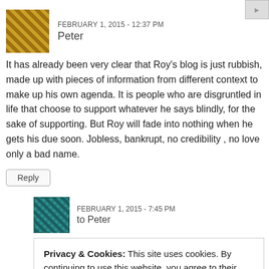[image top right]
FEBRUARY 1, 2015 - 12:37 PM
Peter
It has already been very clear that Roy’s blog is just rubbish, made up with pieces of information from different context to make up his own agenda. It is people who are disgruntled in life that choose to support whatever he says blindly, for the sake of supporting. But Roy will fade into nothing when he gets his due soon. Jobless, bankrupt, no credibility , no love only a bad name.
Reply
FEBRUARY 1, 2015 - 7:45 PM
to Peter
Privacy & Cookies: This site uses cookies. By continuing to use this website, you agree to their use.
To find out more, including how to control cookies, see here: Cookie Policy
Close and accept
therefor hundreds of thousand people in helpless, desperate. those